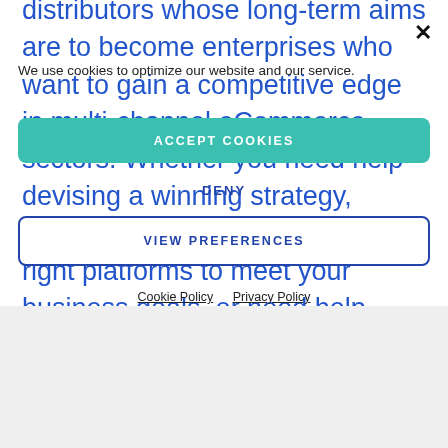distributors whose long-term aims are to become enterprises who want to gain a competitive edge in multi-channel eCommerce sectors. Whether you need help devising a winning strategy, selecting, or implementing the right platforms to meet your business goals, or need help managing your product information
We use cookies to optimize our website and our service.
ACCEPT COOKIES
DENY
VIEW PREFERENCES
Cookie Policy  Privacy Policy